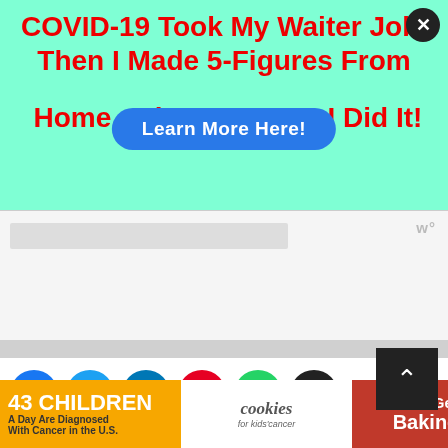[Figure (screenshot): Advertisement banner with mint/aqua background. Large bold red text reads 'COVID-19 Took My Waiter Job, Then I Made 5-Figures From Home...Discover How I Did It!' with a blue 'Learn More Here!' button overlay. Close button (X) in top right corner.]
[Figure (screenshot): Gray advertisement placeholder area with light gray rectangle and 'W°' logo in top right.]
[Figure (screenshot): Social sharing icons row: Facebook (blue), Twitter (light blue), LinkedIn (dark blue), Pinterest (red), WhatsApp (green), Email (black).]
Leave a Comment
[Figure (screenshot): Bottom banner ad: orange background showing '43 CHILDREN A Day Are Diagnosed With Cancer in the U.S.' on left, cookies for kids' cancer logo in middle, 'Let's Get Baking' on red background on right. Close X button in corner.]